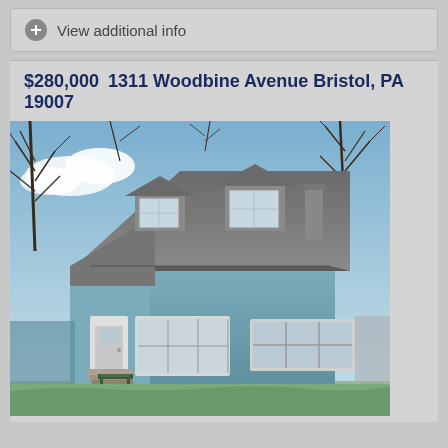View additional info
$280,000  1311 Woodbine Avenue Bristol, PA 19007
[Figure (photo): Exterior photo of a two-story Cape Cod style house with light blue siding, gray roof with two dormers, white trim windows, front door with steps, bare trees visible against a blue sky background. A bench is visible in the front yard.]